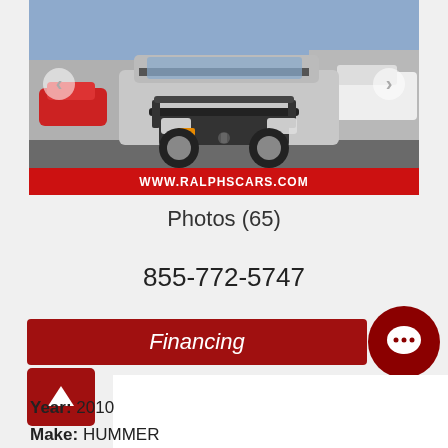[Figure (photo): Silver Hummer H3 with aftermarket front bumper/bull bar, photographed in a dealership parking lot]
WWW.RALPHSCARS.COM
Photos (65)
855-772-5747
Financing
Year: 2010
Make: HUMMER